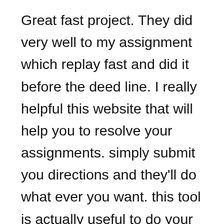Great fast project. They did very well to my assignment which replay fast and did it before the deed line. I really helpful this website that will help you to resolve your assignments. simply submit you directions and they'll do what ever you want. this tool is actually useful to do your homework. save time and trusted place. the provide a free turn it checking too. the quilt all topics and they have a variety of writers who can help you. I like how they can also quickly help you with